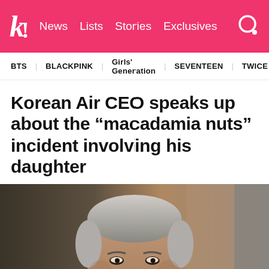k! News Lists Stories Exclusives [search]
BTS  BLACKPINK  Girls' Generation  SEVENTEEN  TWICE
Korean Air CEO speaks up about the “macadamia nuts” incident involving his daughter
[Figure (photo): Close-up photo of an older Korean man with grey hair, wearing a dark suit, looking forward with a neutral expression. Background is blurred with dark and warm tones.]